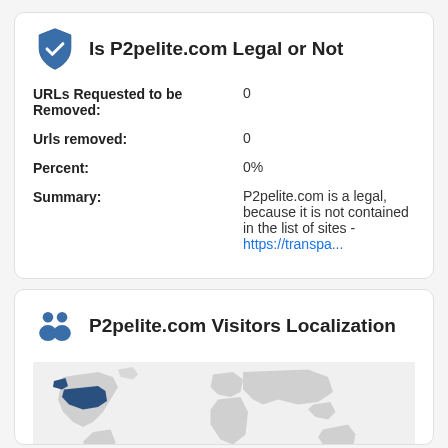Is P2pelite.com Legal or Not
URLs Requested to be Removed: 0
Urls removed: 0
Percent: 0%
Summary: P2pelite.com is a legal, because it is not contained in the list of sites - https://transpa...
P2pelite.com Visitors Localization
[Figure (map): World map showing visitor localization for P2pelite.com, with North America highlighted in dark blue]